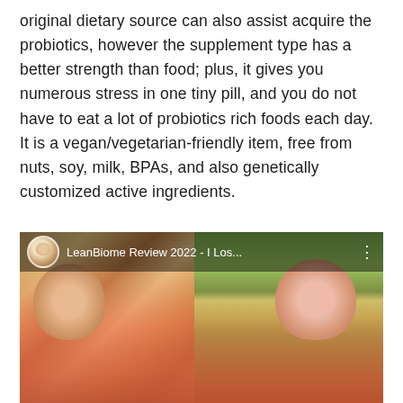original dietary source can also assist acquire the probiotics, however the supplement type has a better strength than food; plus, it gives you numerous stress in one tiny pill, and you do not have to eat a lot of probiotics rich foods each day. It is a vegan/vegetarian-friendly item, free from nuts, soy, milk, BPAs, and also genetically customized active ingredients.
[Figure (screenshot): A video thumbnail showing a split-screen before-and-after comparison of a woman. Left side shows indoor setting with warm tones; right side shows outdoor setting with green trees. Top overlay bar shows avatar icon and text 'LeanBiome Review 2022 - I Los...' with a vertical three-dot menu icon.]